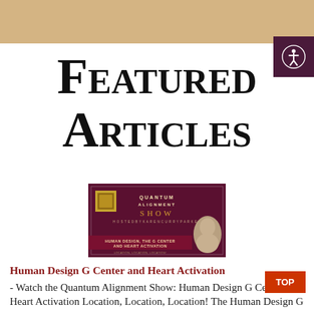Featured Articles
[Figure (photo): Quantum Alignment Show banner featuring Human Design G Center and Heart Activation title with a portrait photo on the right and decorative gold square emblem on the left, dark maroon background]
Human Design G Center and Heart Activation
- Watch the Quantum Alignment Show: Human Design G Center and Heart Activation Location, Location, Location! The Human Design G